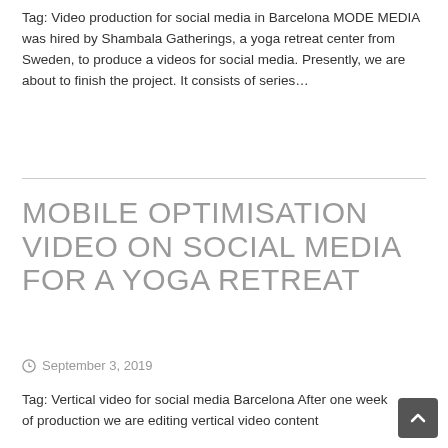Tag: Video production for social media in Barcelona MODE MEDIA was hired by Shambala Gatherings, a yoga retreat center from Sweden, to produce a videos for social media. Presently, we are about to finish the project. It consists of series...
MOBILE OPTIMISATION VIDEO ON SOCIAL MEDIA FOR A YOGA RETREAT
September 3, 2019
Tag: Vertical video for social media Barcelona After one week of production we are editing vertical video content